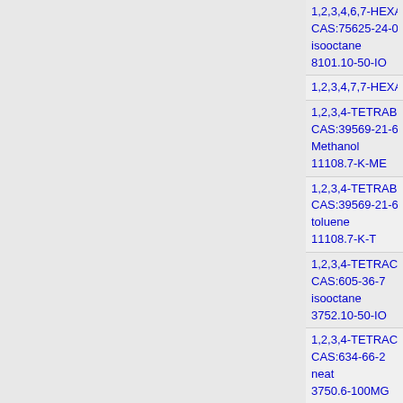1,2,3,4,6,7-HEXABROMONAPHTHALENE
CAS:75625-24-0
isooctane
8101.10-50-IO
1,2,3,4,7,7-HEXACHLORO-5-(TETRABROMOPHENYL...
1,2,3,4-TETRABROMO-5-CHLORO-6-METHYLBENZE...
CAS:39569-21-6
Methanol
11108.7-K-ME
1,2,3,4-TETRABROMO-5-CHLORO-6-METHYLBENZE...
CAS:39569-21-6
toluene
11108.7-K-T
1,2,3,4-TETRACHLORO-1,2,3,4-TETRAHYDRONAPH...
CAS:605-36-7
isooctane
3752.10-50-IO
1,2,3,4-TETRACHLOROBENZENE
CAS:634-66-2
neat
3750.6-100MG
1,2,3,4-TETRACHLOROBENZENE
CAS:634-66-2
isooctane
3750.6-K-IO
1,2,3,4-TETRACHLORODIBENZO-P-DIOXIN
CAS:30746-58-8
toluene
2034.12-50-T